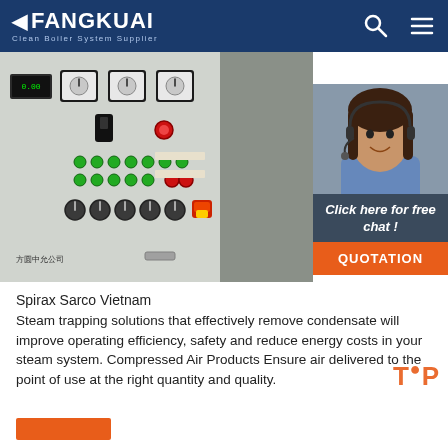FANGKUAI — Clean Boiler System Supplier
[Figure (photo): Industrial boiler control panel with gauges, indicator lights (green and red), and rotary switches mounted on a white/grey metal cabinet. Company branding visible at bottom.]
[Figure (photo): 24/7 Online customer support agent — smiling woman wearing a headset, with 'Click here for free chat!' text and a QUOTATION button below.]
Spirax Sarco Vietnam
Steam trapping solutions that effectively remove condensate will improve operating efficiency, safety and reduce energy costs in your steam system. Compressed Air Products Ensure air delivered to the point of use at the right quantity and quality.